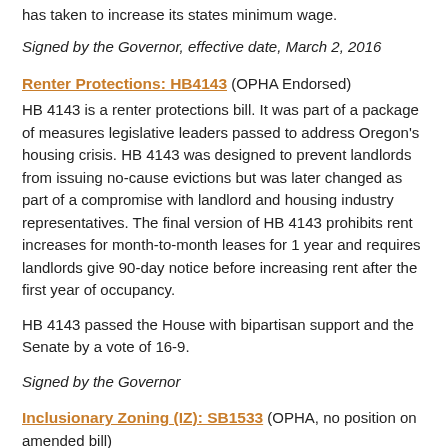has taken to increase its states minimum wage.
Signed by the Governor, effective date, March 2, 2016
Renter Protections: HB4143 (OPHA Endorsed)
HB 4143 is a renter protections bill. It was part of a package of measures legislative leaders passed to address Oregon's housing crisis. HB 4143 was designed to prevent landlords from issuing no-cause evictions but was later changed as part of a compromise with landlord and housing industry representatives. The final version of HB 4143 prohibits rent increases for month-to-month leases for 1 year and requires landlords give 90-day notice before increasing rent after the first year of occupancy.
HB 4143 passed the House with bipartisan support and the Senate by a vote of 16-9.
Signed by the Governor
Inclusionary Zoning (IZ): SB1533 (OPHA, no position on amended bill)